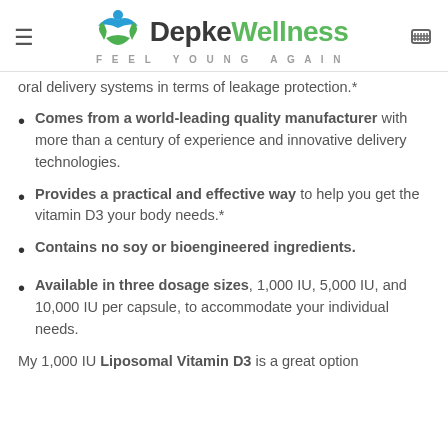Depke Wellness — FEEL YOUNG AGAIN
oral delivery systems in terms of leakage protection.*
Comes from a world-leading quality manufacturer with more than a century of experience and innovative delivery technologies.
Provides a practical and effective way to help you get the vitamin D3 your body needs.*
Contains no soy or bioengineered ingredients.
Available in three dosage sizes, 1,000 IU, 5,000 IU, and 10,000 IU per capsule, to accommodate your individual needs.
My 1,000 IU Liposomal Vitamin D3 is a great option